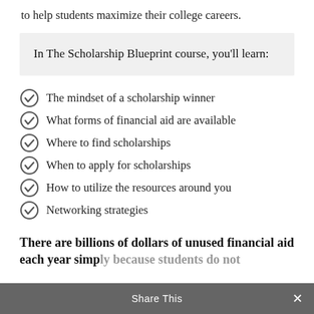to help students maximize their college careers.
In The Scholarship Blueprint course, you'll learn:
The mindset of a scholarship winner
What forms of financial aid are available
Where to find scholarships
When to apply for scholarships
How to utilize the resources around you
Networking strategies
There are billions of dollars of unused financial aid each year simply because students do not
Share This ×